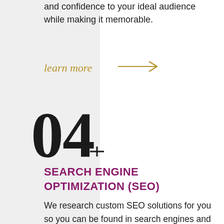and confidence to your ideal audience while making it memorable.
learn more →
04
SEARCH ENGINE OPTIMIZATION (SEO)
We research custom SEO solutions for you so you can be found in search engines and grow your online presence.